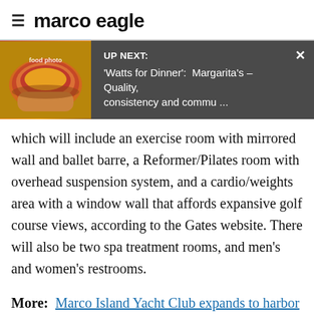marco eagle
[Figure (screenshot): UP NEXT banner with food photo thumbnail showing 'Watts for Dinner': Margarita's – Quality, consistency and commu …]
which will include an exercise room with mirrored wall and ballet barre, a Reformer/Pilates room with overhead suspension system, and a cardio/weights area with a window wall that affords expansive golf course views, according to the Gates website. There will also be two spa treatment rooms, and men's and women's restrooms.
More: Marco Island Yacht Club expands to harbor luxury yachts